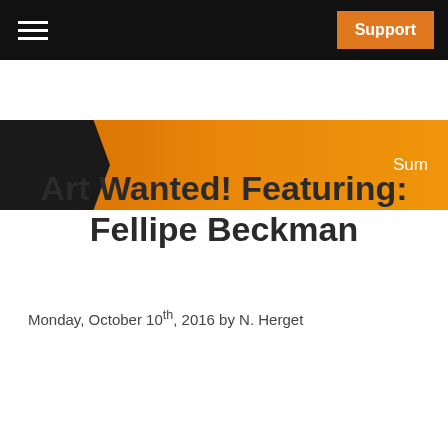Support
[Figure (other): Orange gradient banner with dark arrow shape on the left and 'Sumi' text on the right]
Art Wanted! Featuring: Fellipe Beckman
Monday, October 10th, 2016 by N. Herget